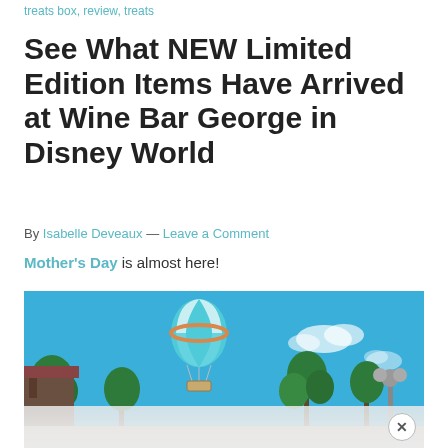treats box, review, treats
See What NEW Limited Edition Items Have Arrived at Wine Bar George in Disney World
By Isabelle Deveaux — Leave a Comment
Mother's Day is almost here!
[Figure (photo): Outdoor photo of Disney Springs area showing a teal and white striped hot air balloon floating in a bright blue sky, with palm trees, a lamp post, and a dark pavilion structure visible below.]